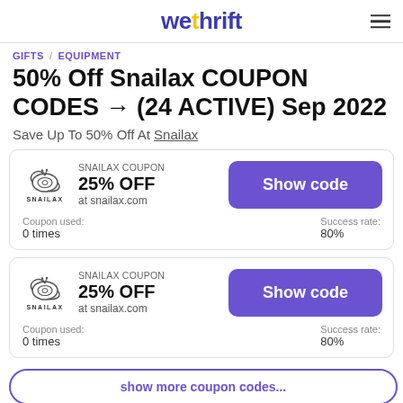wethrift
GIFTS  EQUIPMENT
50% Off Snailax COUPON CODES → (24 ACTIVE) Sep 2022
Save Up To 50% Off At Snailax
SNAILAX COUPON
25% OFF
at snailax.com
Coupon used: 0 times
Success rate: 80%
SNAILAX COUPON
25% OFF
at snailax.com
Coupon used: 0 times
Success rate: 80%